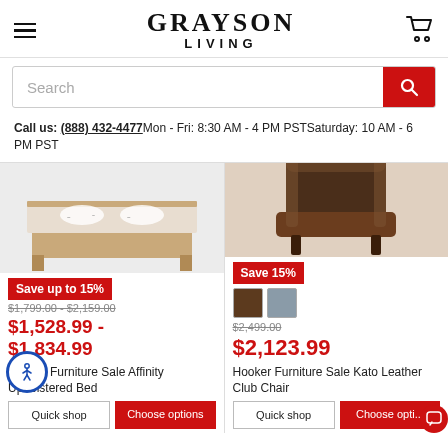GRAYSON LIVING
Search
Call us: (888) 432-4477 Mon - Fri: 8:30 AM - 4 PM PST Saturday: 10 AM - 6 PM PST
[Figure (photo): Hooker Furniture upholstered bed with white bedding]
Save up to 15%
$1,799.00 - $2,159.00
$1,528.99 - $1,834.99
Hooker Furniture Sale Affinity Upholstered Bed
[Figure (photo): Hooker Furniture Kato Leather Club Chair in dark brown leather]
Save 15%
$2,499.00
$2,123.99
Hooker Furniture Sale Kato Leather Club Chair